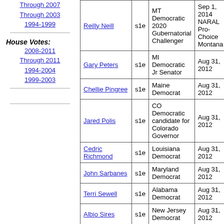Through 2007
Through 2003
1994-1999
House Votes:
2008-2011
Through 2011
1994-2004
1999-2003
| Name | Vote | Description | Date |
| --- | --- | --- | --- |
| Reilly Neill | s1e | MT Democratic 2020 Gubernatorial Challenger | Sep 1, 2014 NARAL Pro-Choice Montana |
| Gary Peters | s1e | MI Democratic Jr Senator | Aug 31, 2012 |
| Chellie Pingree | s1e | Maine Democrat | Aug 31, 2012 |
| Jared Polis | s1e | CO Democratic candidate for Colorado Governor | Aug 31, 2012 |
| Cedric Richmond | s1e | Louisiana Democrat | Aug 31, 2012 |
| John Sarbanes | s1e | Maryland Democrat | Aug 31, 2012 |
| Terri Sewell | s1e | Alabama Democrat | Aug 31, 2012 |
| Albio Sires | s1e | New Jersey Democrat | Aug 31, 2012 |
| Pete Stark | s1e | California Democrat | Aug 31, 2012 |